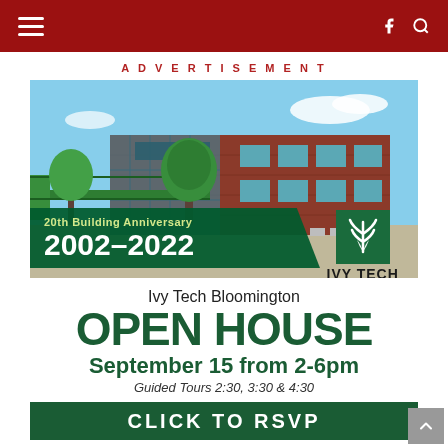Navigation bar with hamburger menu, Facebook and Search icons
ADVERTISEMENT
[Figure (photo): Ivy Tech Bloomington campus building — brick exterior with green walkway bridge and outdoor seating. Advertisement for 20th Building Anniversary 2002-2022 Open House, September 15 from 2-6pm, Guided Tours 2:30, 3:30 & 4:30. Ivy Tech Community College logo shown. Bottom bar says CLICK TO RSVP.]